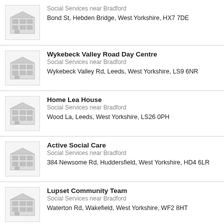Social Services near Bradford
Bond St, Hebden Bridge, West Yorkshire, HX7 7DE
Wykebeck Valley Road Day Centre
Social Services near Bradford
Wykebeck Valley Rd, Leeds, West Yorkshire, LS9 6NR
Home Lea House
Social Services near Bradford
Wood La, Leeds, West Yorkshire, LS26 0PH
Active Social Care
Social Services near Bradford
384 Newsome Rd, Huddersfield, West Yorkshire, HD4 6LR
Lupset Community Team
Social Services near Bradford
Waterton Rd, Wakefield, West Yorkshire, WF2 8HT